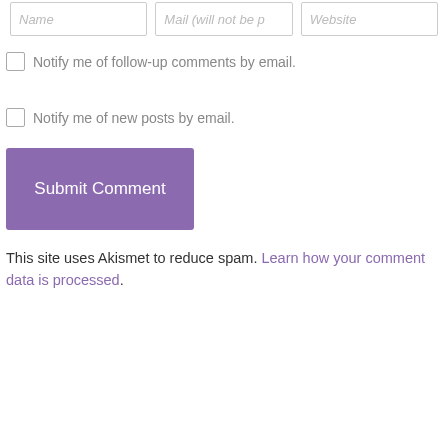[Figure (screenshot): Three form input fields at the top: Name, Mail (will not be published), Website]
Notify me of follow-up comments by email.
Notify me of new posts by email.
Submit Comment
This site uses Akismet to reduce spam. Learn how your comment data is processed.